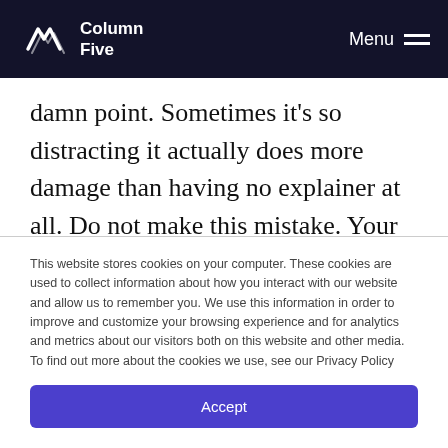Column Five | Menu
damn point. Sometimes it’s so distracting it actually does more damage than having no explainer at all. Do not make this mistake. Your job is to tell one specific story in a clear, concise way.
This website stores cookies on your computer. These cookies are used to collect information about how you interact with our website and allow us to remember you. We use this information in order to improve and customize your browsing experience and for analytics and metrics about our visitors both on this website and other media. To find out more about the cookies we use, see our Privacy Policy
Accept